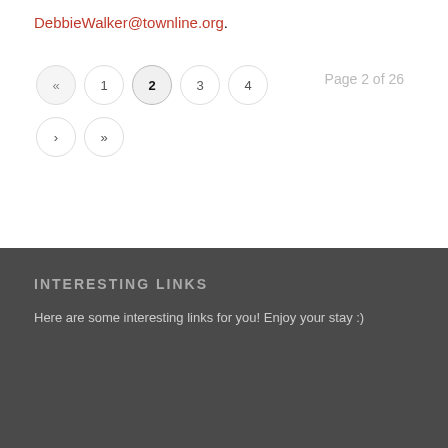DebbieWalker@townline.org.
« 1 2 3 4 › » Page 2 of 26
INTERESTING LINKS
Here are some interesting links for you! Enjoy your stay :)